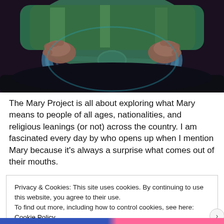[Figure (illustration): Colorful illustration of a person's hands gripping a steering wheel, viewed from driver perspective, rendered in vibrant blues, greens, and earth tones with dark background.]
The Mary Project is all about exploring what Mary means to people of all ages, nationalities, and religious leanings (or not) across the country. I am fascinated every day by who opens up when I mention Mary because it’s always a surprise what comes out of their mouths.
Privacy & Cookies: This site uses cookies. By continuing to use this website, you agree to their use.
To find out more, including how to control cookies, see here: Cookie Policy
Close and accept